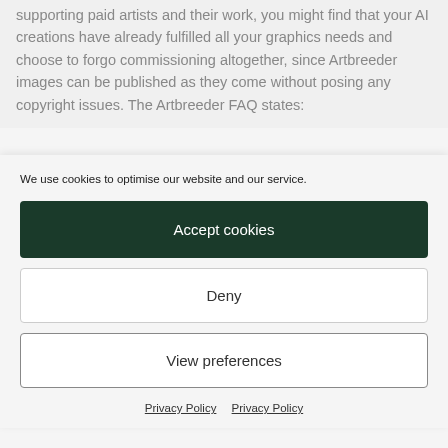supporting paid artists and their work, you might find that your AI creations have already fulfilled all your graphics needs and choose to forgo commissioning altogether, since Artbreeder images can be published as they come without posing any copyright issues. The Artbreeder FAQ states:
We use cookies to optimise our website and our service.
Accept cookies
Deny
View preferences
Privacy Policy   Privacy Policy